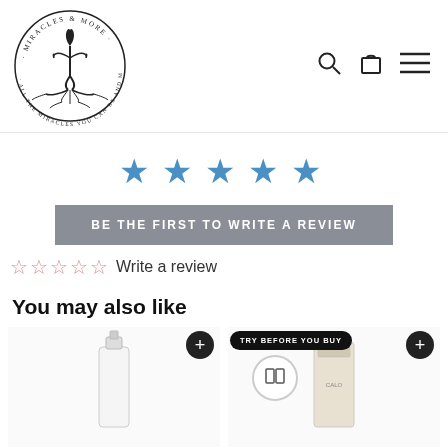[Figure (logo): Miracles & More circular logo with tree/human figure and text 'All the miracles you can be and more']
[Figure (infographic): Five blue filled stars rating]
BE THE FIRST TO WRITE A REVIEW
☆☆☆☆☆ Write a review
You may also like
[Figure (photo): Product image left - clear glass dropper bottle]
[Figure (photo): Product image right with TRY BEFORE YOU BUY badge and book/sample icon]